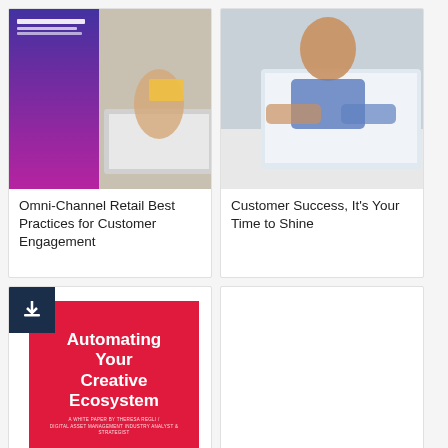[Figure (photo): Photo of person using laptop while holding a credit card, with a book cover overlay showing 'Omni-Channel Retail' text]
Omni-Channel Retail Best Practices for Customer Engagement
[Figure (photo): Photo of a man in a blue shirt working on a laptop computer]
Customer Success, It's Your Time to Shine
[Figure (illustration): White paper cover with red background, download badge icon, titled 'Automating Your Creative Ecosystem' by Theresa Regli, Digital Asset Management Industry Analyst & Strategist]